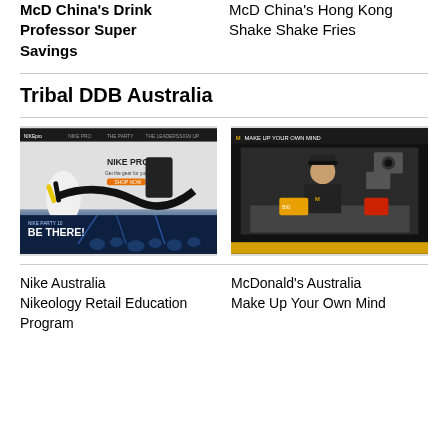McD China's Drink Professor Super Savings
McD China's Hong Kong Shake Shake Fries
Tribal DDB Australia
[Figure (screenshot): Screenshot of Nike Australia Nikeology website showing Nike Pro product and 'Be There!' event section with a yellow footballer figure]
[Figure (screenshot): Screenshot of McDonald's Australia 'Make Up Your Own Mind' campaign video showing a McDonald's employee at the counter holding a burger]
Nike Australia Nikeology Retail Education Program
McDonald's Australia Make Up Your Own Mind